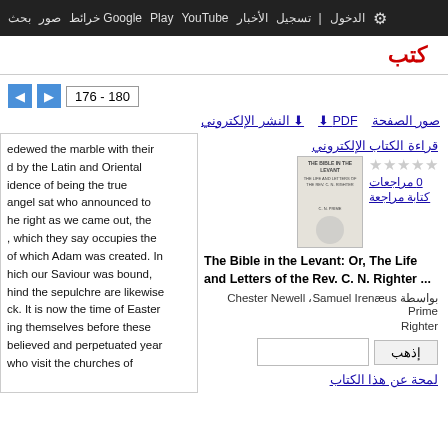بحث صور خرائط Google Play YouTube الأخبار تسجيل الدخول الإعدادات
كتب
176 - 180
صور الصفحة  PDF  النشر الإلكتروني
edewed the marble with their d by the Latin and Oriental idence of being the true angel sat who announced to he right as we came out, the , which they say occupies the of which Adam was created. In hich our Saviour was bound, hind the sepulchre are likewise ck. It is now the time of Easter ing themselves before these believed and perpetuated year who visit the churches of
قراءة الكتاب الإلكتروني
0 مراجعات
كتابة مراجعة
The Bible in the Levant: Or, The Life and Letters of the Rev. C. N. Righter ...
بواسطة Chester Newell ،Samuel Irenæus Prime
Righter
إذهب
لمحة عن هذا الكتاب